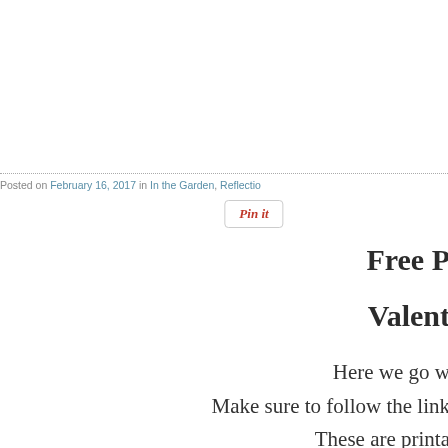Posted on February 16, 2017 in In the Garden, Reflection
[Figure (other): Pin it button]
Free P
Valent
Here we go w
Make sure to follow the link
These are printa
T
Click on the li